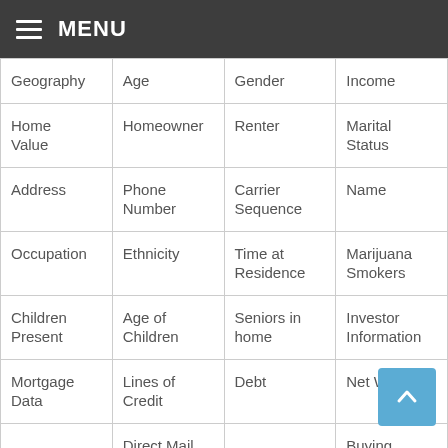≡ MENU
| Geography | Age | Gender | Income |
| Home Value | Homeowner | Renter | Marital Status |
| Address | Phone Number | Carrier Sequence | Name |
| Occupation | Ethnicity | Time at Residence | Marijuana Smokers |
| Children Present | Age of Children | Seniors in home | Investor Information |
| Mortgage Data | Lines of Credit | Debt | Net Worth |
|  | Direct Mail |  | Buying |